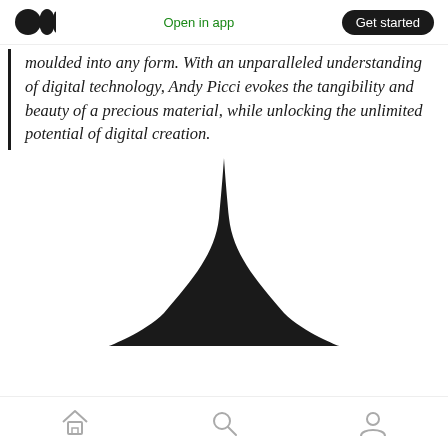Open in app | Get started
moulded into any form. With an unparalleled understanding of digital technology, Andy Picci evokes the tangibility and beauty of a precious material, while unlocking the unlimited potential of digital creation.
[Figure (illustration): A tall, sharp black spike or flame-like shape that is narrow at the top and widens at the base with curved wings, resembling a digital liquid metal spike or fountain, centered on a white background.]
Home | Search | Profile